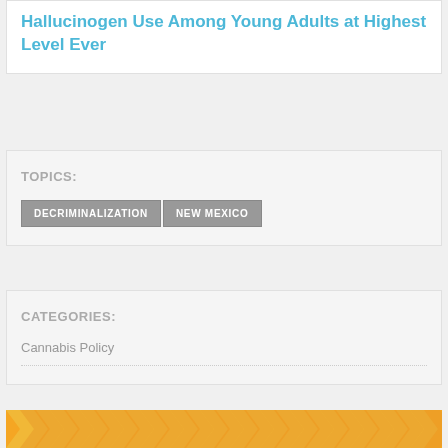Hallucinogen Use Among Young Adults at Highest Level Ever
TOPICS:
DECRIMINALIZATION   NEW MEXICO
CATEGORIES:
Cannabis Policy